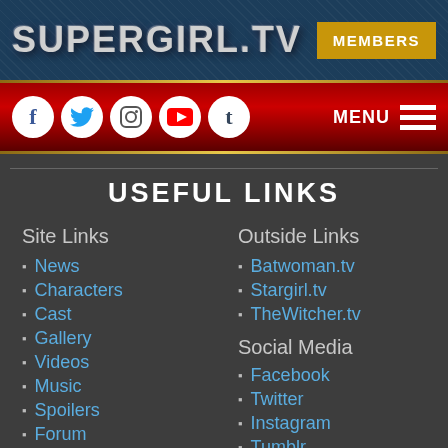SUPERGIRL.TV
[Figure (screenshot): Navigation bar with social media icons (Facebook, Twitter, Instagram, YouTube, Tumblr) and MENU hamburger button on red background]
USEFUL LINKS
Site Links
News
Characters
Cast
Gallery
Videos
Music
Spoilers
Forum
Support
Outside Links
Batwoman.tv
Stargirl.tv
TheWitcher.tv
Social Media
Facebook
Twitter
Instagram
Tumblr